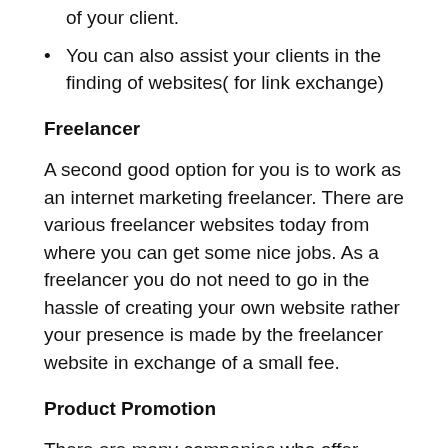of your client.
You can also assist your clients in the finding of websites( for link exchange)
Freelancer
A second good option for you is to work as an internet marketing freelancer. There are various freelancer websites today from where you can get some nice jobs. As a freelancer you do not need to go in the hassle of creating your own website rather your presence is made by the freelancer website in exchange of a small fee.
Product Promotion
There are many companies who offer incentives for anyone who can get their products promoted on the internet. Well why not you become that “someone”. For